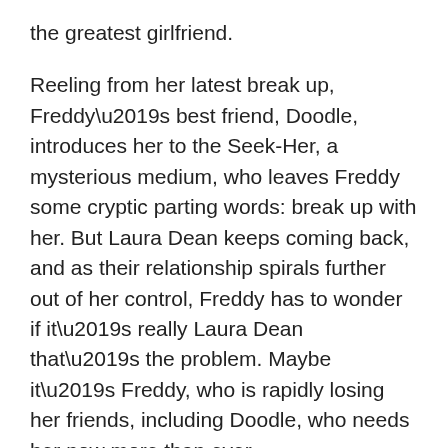the greatest girlfriend.
Reeling from her latest break up, Freddy’s best friend, Doodle, introduces her to the Seek-Her, a mysterious medium, who leaves Freddy some cryptic parting words: break up with her. But Laura Dean keeps coming back, and as their relationship spirals further out of her control, Freddy has to wonder if it’s really Laura Dean that’s the problem. Maybe it’s Freddy, who is rapidly losing her friends, including Doodle, who needs her now more than ever.
Fortunately for Freddy, there are new friends, and the insight of advice columnists like Anna Vice to help her through being a teenager in love.